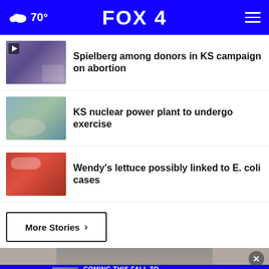70° FOX 4
Spielberg among donors in KS campaign on abortion
KS nuclear power plant to undergo exercise
Wendy's lettuce possibly linked to E. coli cases
More Stories ›
[Figure (screenshot): Chris Cuomo advertisement banner: CHRIS CUOMO – COMING THIS FALL TO [NEWSNATION] FIND YOUR CHANNEL]
CHRIS CUOMO COMING THIS FALL TO NEWSNATION FIND YOUR CHANNEL